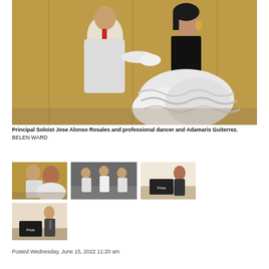[Figure (photo): Main large photo of Principal Soloist Jose Alonso Rosales and professional dancer Adamaris Guiterrez in formal ballroom dance attire, the woman in black and white ruffled dress, the man in white suit with red tie]
Principal Soloist Jose Alonso Rosales and professional dancer and Adamaris Guiterrez.
BELEN WARD
[Figure (photo): Small thumbnail: two dancers in ballroom poses, similar costumes, wooden floor background]
[Figure (photo): Small thumbnail: group of dancers rehearsing in a hall, white costumes]
[Figure (photo): Small thumbnail: woman standing next to a Pride Dance Academy display/sign]
[Figure (photo): Small thumbnail: man in suit standing next to a Pride Dance Academy booth display]
Posted Wednesday, June 15, 2022 11:20 am